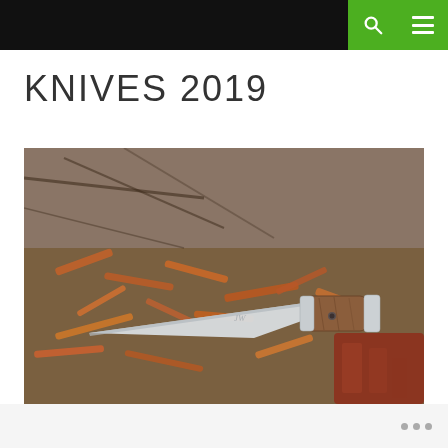Navigation bar with search and menu icons
KNIVES 2019
[Figure (photo): A knife with a wooden and metal handle marked with 'JW' initials, resting on a wooden surface with wood shavings and a red wooden tool in the background.]
...